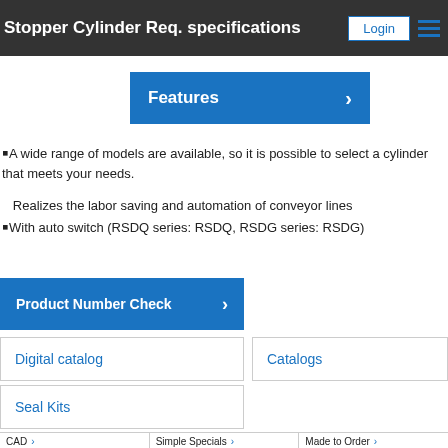Stopper Cylinder Req. specifications
Login
Features
A wide range of models are available, so it is possible to select a cylinder that meets your needs.
Realizes the labor saving and automation of conveyor lines
With auto switch (RSDQ series: RSDQ, RSDG series: RSDG)
Product Number Check
Digital catalog
Catalogs
Seal Kits
CAD
Simple Specials
Made to Order